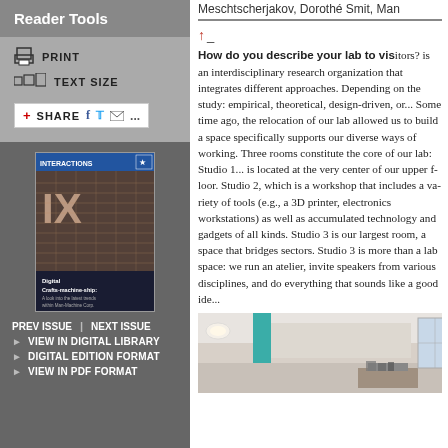Meschtscherjakov, Dorothé Smit, Man
Reader Tools
PRINT
TEXT SIZE
SHARE
[Figure (photo): Magazine cover of Interactions, featuring Digital Crafts-machine-ship article, showing woven/fabric texture with IX logo]
PREV ISSUE | NEXT ISSUE
VIEW IN DIGITAL LIBRARY
DIGITAL EDITION FORMAT
VIEW IN PDF FORMAT
How do you describe your lab to visitors? is an interdisciplinary research organization that integrates different approaches. Depending on the study: empirical, theoretical, design-driven, or... Some time ago, the relocation of our lab allowed us to build a space specifically supports our diverse ways of working. Three rooms constitute the core of our lab: Studio 1... is located at the very center of our upper floor. Studio 2, which is a workshop that includes a variety of tools (e.g., a 3D printer, electronics workstations) as well as accumulated technology and gadgets of all kinds. Studio 3 is our largest room, a space that bridges sectors. Studio 3 is more than a lab space: we run an atelier, invite speakers from various disciplines, and do everything that sounds like a good ide
[Figure (photo): Interior photo of a lab/studio space showing a teal/turquoise column, ceiling lights, and some equipment on a table]